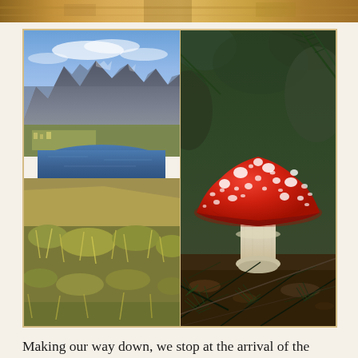[Figure (photo): Partial top strip of a photo visible at the very top of the page, showing warm golden-brown tones, appears to be a landscape or path photo cropped to a thin strip.]
[Figure (photo): Two side-by-side photos in a bordered frame. Left photo: panoramic view from a hilltop showing rugged mountain peaks (Remarkables), a lake (Lake Wakatipu), the town of Queenstown below, and green-yellow tussock grass in the foreground under a blue sky. Right photo: close-up of a red-and-white spotted fly agaric mushroom (Amanita muscaria) growing among green pine needles and forest debris.]
Making our way down, we stop at the arrival of the Gondola where we watch a few adventurous people bungy-jumping. Because this is also one activity that people seek in this resort town, next to hiking, mountain-